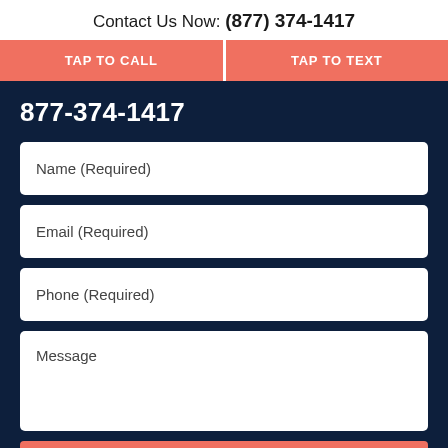Contact Us Now: (877) 374-1417
TAP TO CALL
TAP TO TEXT
877-374-1417
Name (Required)
Email (Required)
Phone (Required)
Message
CONTACT US NOW